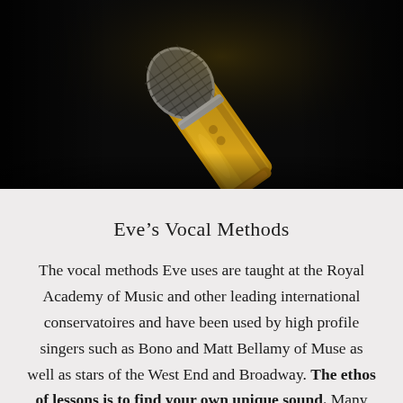[Figure (photo): Close-up photo of a gold microphone on a black background]
Eve’s Vocal Methods
The vocal methods Eve uses are taught at the Royal Academy of Music and other leading international conservatoires and have been used by high profile singers such as Bono and Matt Bellamy of Muse as well as stars of the West End and Broadway. The ethos of lessons is to find your own unique sound. Many local singing